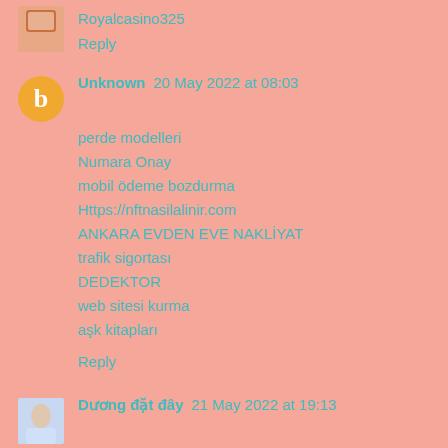Royalcasino325
Reply
Unknown  20 May 2022 at 08:03
perde modelleri
Numara Onay
mobil ödeme bozdurma
Https://nftnasilalinir.com
ANKARA EVDEN EVE NAKLİYAT
trafik sigortası
DEDEKTOR
web sitesi kurma
aşk kitapları
Reply
Dương đặt đây  21 May 2022 at 19:13
That's a great article! The neatly organized content is good to see. Can I quote a blog and write it on my blog? My blog has a variety of communities including these articles.